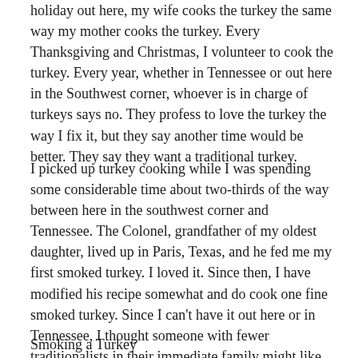holiday out here, my wife cooks the turkey the same way my mother cooks the turkey. Every Thanksgiving and Christmas, I volunteer to cook the turkey. Every year, whether in Tennessee or out here in the Southwest corner, whoever is in charge of turkeys says no. They profess to love the turkey the way I fix it, but they say another time would be better. They say they want a traditional turkey.
I picked up turkey cooking while I was spending some considerable time about two-thirds of the way between here in the southwest corner and Tennessee. The Colonel, grandfather of my oldest daughter, lived up in Paris, Texas, and he fed me my first smoked turkey. I loved it. Since then, I have modified his recipe somewhat and do cook one fine smoked turkey. Since I can't have it out here or in Tennessee, I thought someone with fewer traditionalists in their immediate family might like to have the recipe to try for the holidays.
Smoking a Turkey